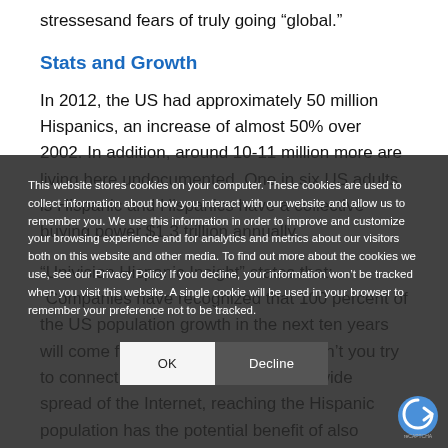stressesand fears of truly going “global.”
Stats and Growth
In 2012, the US had approximately 50 million Hispanics, an increase of almost 50% over 2002. In addition, around 10-11 million more are living here undocumented. One in six US adults is Hispanic and Hispanics have a collective buying power $1.3 trillion annually.
“Univision Hispanic Insight” states that: “Companies have recognized that 100 percent of the US population growth in the next ten years will come from Hispanics.” Why wouldn’t you try to connect with them? With the worldwide spread of the Internet, reaching the Hispanic population has the potential benefit of also targeting the
This website stores cookies on your computer. These cookies are used to collect information about how you interact with our website and allow us to remember you. We use this information in order to improve and customize your browsing experience and for analytics and metrics about our visitors both on this website and other media. To find out more about the cookies we use, see our Privacy Policy If you decline, your information won’t be tracked when you visit this website. A single cookie will be used in your browser to remember your preference not to be tracked.